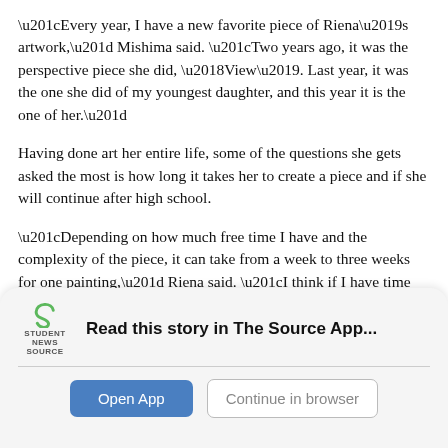“Every year, I have a new favorite piece of Riena’s artwork,” Mishima said. “Two years ago, it was the perspective piece she did, ‘View’. Last year, it was the one she did of my youngest daughter, and this year it is the one of her.”
Having done art her entire life, some of the questions she gets asked the most is how long it takes her to create a piece and if she will continue after high school.
“Depending on how much free time I have and the complexity of the piece, it can take from a week to three weeks for one painting,” Riena said. “I think if I have time then I would like to continue to make art, but since it is just a hobby, I won't be too upset if I don't.”
[Figure (logo): Student News Source app logo - green stylized S mark with 'STUDENT NEWS SOURCE' text beneath]
Read this story in The Source App...
Open App
Continue in browser